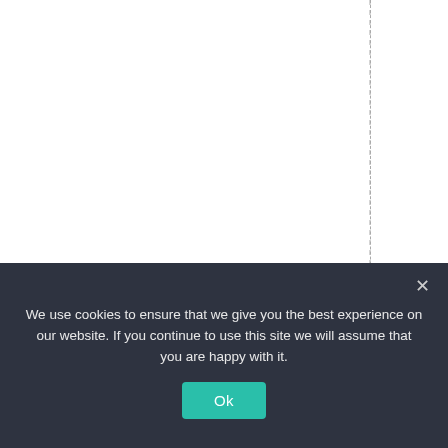hingweknowforsureil
We use cookies to ensure that we give you the best experience on our website. If you continue to use this site we will assume that you are happy with it.